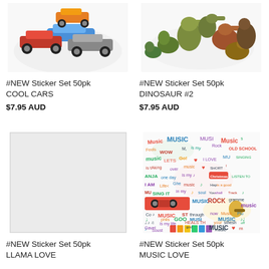[Figure (photo): Sticker set of colorful cars piled together, various models including sports and muscle cars]
#NEW Sticker Set 50pk COOL CARS
$7.95 AUD
[Figure (photo): Sticker set of dinosaurs clustered together, various species including T-Rex and others]
#NEW Sticker Set 50pk DINOSAUR #2
$7.95 AUD
[Figure (photo): Gray placeholder box for llama sticker set image]
#NEW Sticker Set 50pk LLAMA LOVE
[Figure (illustration): Colorful music-themed sticker collage with words MUSIC, Rock, Old School, I Love, Singing, etc. in various colors and styles]
#NEW Sticker Set 50pk MUSIC LOVE